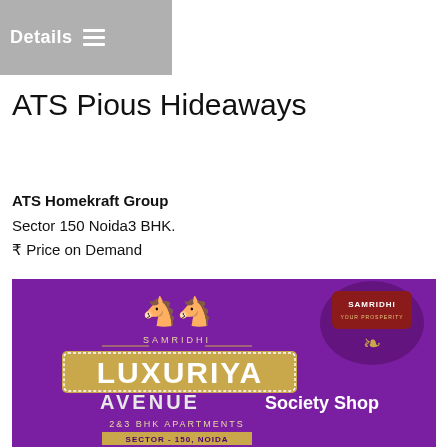Details
ATS Pious Hideaways
ATS Homekraft Group
Sector 150 Noida3 BHK.
₹ Price on Demand
Details
[Figure (illustration): Advertisement banner for Samridhi Luxuriya Avenue, a residential project offering 2&3 BHK apartments in Sector-150, Noida. Purple background with gold and white text and a Samridhi logo.]